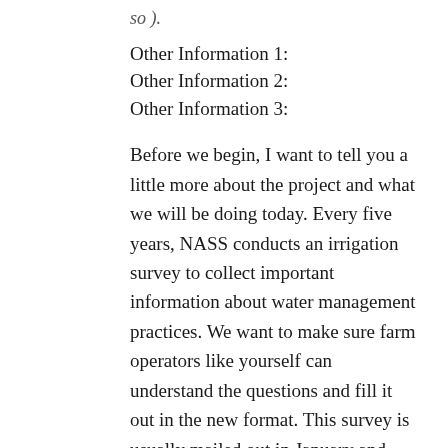Other Information 1:
Other Information 2:
Other Information 3:
Before we begin, I want to tell you a little more about the project and what we will be doing today. Every five years, NASS conducts an irrigation survey to collect important information about water management practices. We want to make sure farm operators like yourself can understand the questions and fill it out in the new format. This survey is usually mailed out in January and covers the previous calendar year.
The...